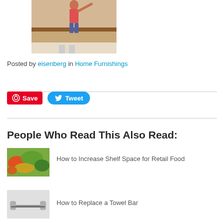[Figure (photo): Photo of a child reaching up toward a wall, with kitchen or indoor setting background]
Posted by eisenberg in Home Furnishings
[Figure (other): Pinterest Save button and Twitter Tweet button]
People Who Read This Also Read:
[Figure (photo): Thumbnail image of retail food shelf with vegetables and salad items]
How to Increase Shelf Space for Retail Food
[Figure (photo): Thumbnail image of a chrome towel bar mounted on a wall]
How to Replace a Towel Bar